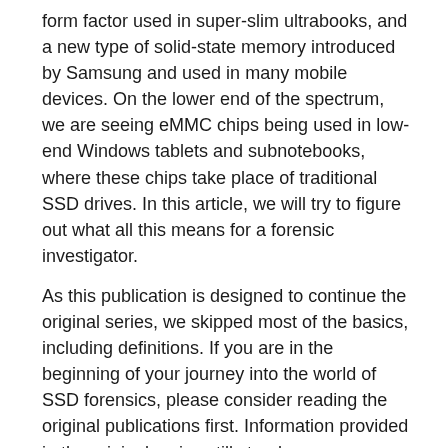form factor used in super-slim ultrabooks, and a new type of solid-state memory introduced by Samsung and used in many mobile devices. On the lower end of the spectrum, we are seeing eMMC chips being used in low-end Windows tablets and subnotebooks, where these chips take place of traditional SSD drives. In this article, we will try to figure out what all this means for a forensic investigator.
As this publication is designed to continue the original series, we skipped most of the basics, including definitions. If you are in the beginning of your journey into the world of SSD forensics, please consider reading the original publications first. Information provided in the original series still stands.
SSD Forensics 2012
SSD Forensics 2014
These and other Belkasoft articles can be found here: https://belkasoft.com/articles.